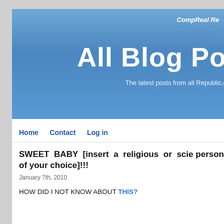CompReal Re
All Blog Po
The latest posts from all Republic.c
Home
Contact
Log in
SWEET BABY [insert a religious or scie person of your choice]!!!
January 7th, 2010
HOW DID I NOT KNOW ABOUT THIS?